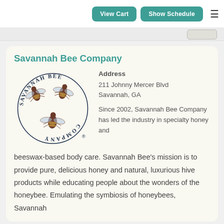View Cart | Show Schedule
Savannah Bee Company
[Figure (logo): Savannah Bee Company circular logo with three bees arranged in a circle, text reading SAVANNAH BEE COMPANY around the circumference]
Address
211 Johnny Mercer Blvd
Savannah, GA
Since 2002, Savannah Bee Company has led the industry in specialty honey and beeswax-based body care. Savannah Bee's mission is to provide pure, delicious honey and natural, luxurious hive products while educating people about the wonders of the honeybee. Emulating the symbiosis of honeybees, Savannah